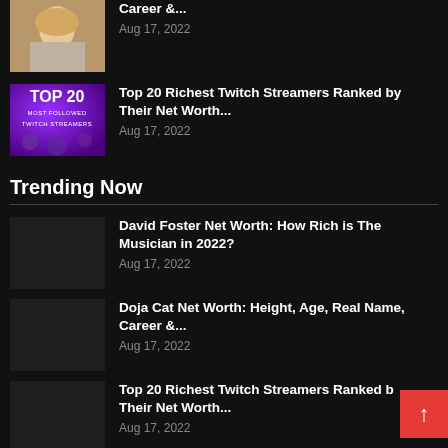Career &...
Aug 17, 2022
Top 20 Richest Twitch Streamers Ranked by Their Net Worth...
Aug 17, 2022
Trending Now
David Foster Net Worth: How Rich is The Musician in 2022?
Aug 17, 2022
Doja Cat Net Worth: Height, Age, Real Name, Career &...
Aug 17, 2022
Top 20 Richest Twitch Streamers Ranked by Their Net Worth...
Aug 17, 2022